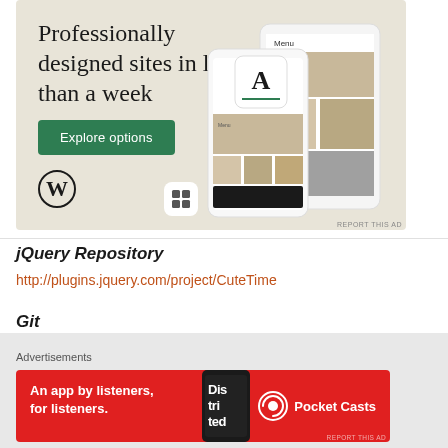[Figure (illustration): WordPress advertisement banner with beige/cream background. Shows headline 'Professionally designed sites in less than a week', a green 'Explore options' button, WordPress logo (W in circle), a small icon, and phone mockups showing website designs on the right side. 'REPORT THIS AD' text in bottom right.]
jQuery Repository
http://plugins.jquery.com/project/CuteTime
Git
[Figure (illustration): Bottom advertisements section with label 'Advertisements' and a Pocket Casts red banner ad reading 'An app by listeners, for listeners.' with Pocket Casts branding and logo, and a phone image showing 'Distributed' text.]